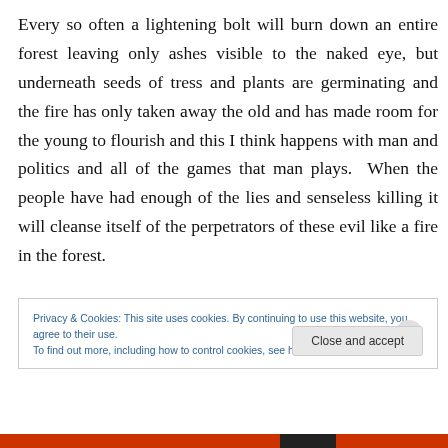Every so often a lightening bolt will burn down an entire forest leaving only ashes visible to the naked eye, but underneath seeds of tress and plants are germinating and the fire has only taken away the old and has made room for the young to flourish and this I think happens with man and politics and all of the games that man plays.  When the people have had enough of the lies and senseless killing it will cleanse itself of the perpetrators of these evil like a fire in the forest.
Privacy & Cookies: This site uses cookies. By continuing to use this website, you agree to their use.
To find out more, including how to control cookies, see here: Cookie Policy